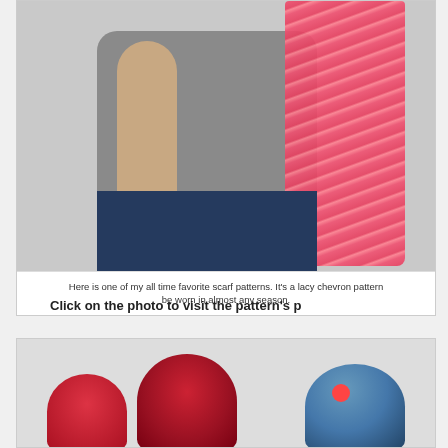[Figure (photo): Person wearing a pink/coral lacy chevron crochet scarf over a gray t-shirt and jeans, photo cropped to show torso]
Here is one of my all time favorite scarf patterns. It's a lacy chevron pattern be worn in almost any season.
Click on the photo to visit the pattern's p
[Figure (photo): Two crocheted hats - a red/dark hat and a blue multicolor hat with red flower detail]